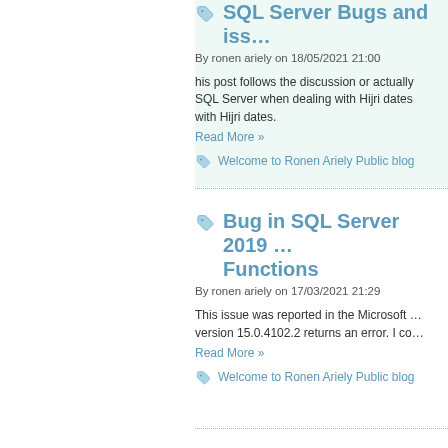SQL Server Bugs and iss…
By ronen ariely on 18/05/2021 21:00
his post follows the discussion or actually SQL Server when dealing with Hijri dates with Hijri dates.
Read More »
Welcome to Ronen Ariely Public blog
Bug in SQL Server 2019 … Functions
By ronen ariely on 17/03/2021 21:29
This issue was reported in the Microsoft … version 15.0.4102.2 returns an error. I co…
Read More »
Welcome to Ronen Ariely Public blog
unused tables?!? Once mo…
By ronen ariely on 10/03/2021 09:33